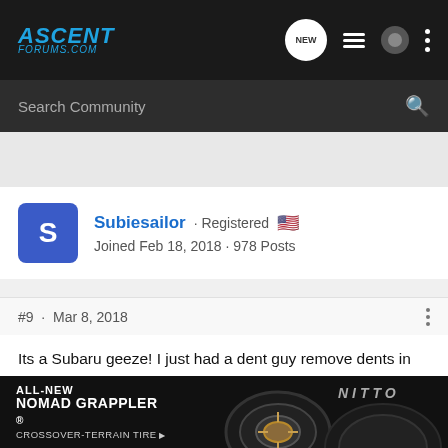AscentForums.com — NEW icon, list icon, user icon, more icon
Search Community
Subiesailor · Registered 🇺🇸
Joined Feb 18, 2018 · 978 Posts
#9 · Mar 8, 2018
Its a Subaru geeze! I just had a dent guy remove dents in my Wifes work car Titanium trim Ford Fusion it hauls top Company brass on occasion. So yea it stays clean and gets dents removed occasionally. I asked the dent guy for a quote on a few dings on my Subaru OB. He laughed and said sure but he hadn't done a Subaru in the past yr. After the quote I laughed and said that much. H
[Figure (advertisement): ALL-NEW NOMAD GRAPPLER crossover-terrain tire advertisement by Nitto, showing tire image on dark background]